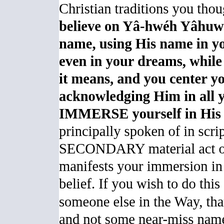Christian traditions you thought… believe on Yâ-hwéh Yâhuwshú… name, using His name in your… even in your dreams, while und… it means, and you center your l… acknowledging Him in all your… IMMERSE yourself in His na… principally spoken of in scripture… SECONDARY material act of ob… manifests your immersion in His… belief. If you wish to do this sec… someone else in the Way, that be… and not some near-miss name. If… immersed, and you have more th…